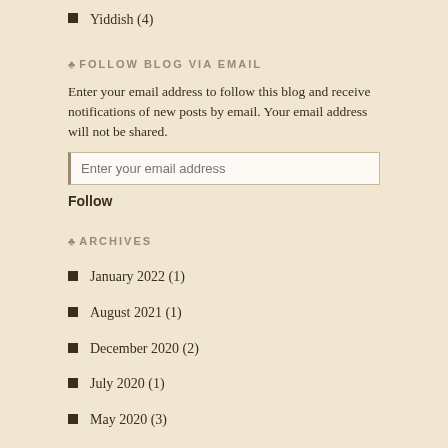Yiddish (4)
FOLLOW BLOG VIA EMAIL
Enter your email address to follow this blog and receive notifications of new posts by email. Your email address will not be shared.
Enter your email address
Follow
ARCHIVES
January 2022 (1)
August 2021 (1)
December 2020 (2)
July 2020 (1)
May 2020 (3)
April 2020 (1)
March 2020 (1)
January 2020 (2)